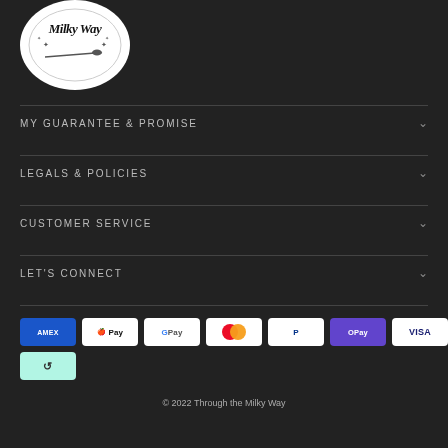[Figure (logo): Milky Way oval logo in white oval with script text and shooting star design]
MY GUARANTEE & PROMISE
LEGALS & POLICIES
CUSTOMER SERVICE
LET'S CONNECT
[Figure (other): Payment method badges: American Express, Apple Pay, Google Pay, Mastercard, PayPal, OPay, Visa, Afterpay]
© 2022 Through the Milky Way